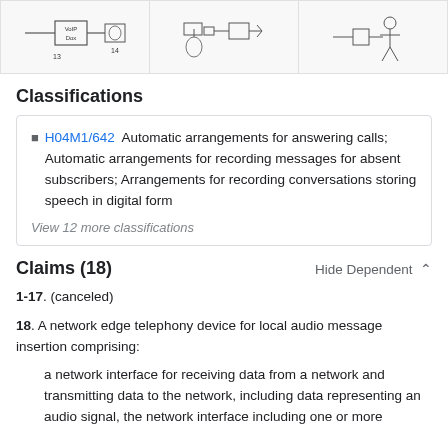[Figure (engineering-diagram): Three patent diagrams showing telephony device configurations with VoIP box, phone, and network components labeled with reference numbers 13 and 14]
Classifications
H04M1/642 Automatic arrangements for answering calls; Automatic arrangements for recording messages for absent subscribers; Arrangements for recording conversations storing speech in digital form
View 12 more classifications
Claims (18)
Hide Dependent ^
1-17. (canceled)
18. A network edge telephony device for local audio message insertion comprising:
a network interface for receiving data from a network and transmitting data to the network, including data representing an audio signal, the network interface including one or more